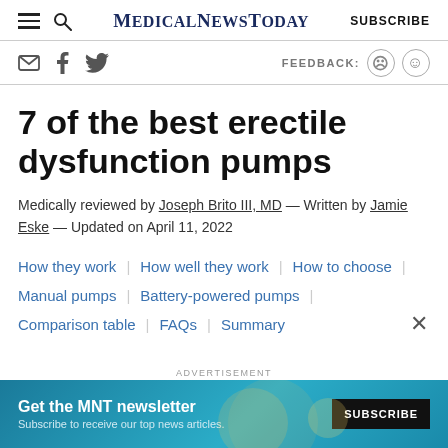MedicalNewsToday  SUBSCRIBE
7 of the best erectile dysfunction pumps
Medically reviewed by Joseph Brito III, MD — Written by Jamie Eske — Updated on April 11, 2022
How they work | How well they work | How to choose |
Manual pumps | Battery-powered pumps |
Comparison table | FAQs | Summary
[Figure (screenshot): MNT newsletter advertisement banner: 'Get the MNT newsletter — Subscribe to receive our top news articles.' with a SUBSCRIBE button on a teal/blue background.]